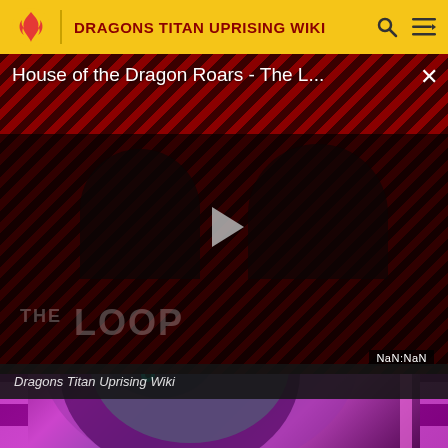DRAGONS TITAN UPRISING WIKI
[Figure (screenshot): Video player showing 'House of the Dragon Roars - The L...' with a play button overlay, THE LOOP branding, NaN:NaN timer display, and caption bar reading 'Dragons Titan Uprising Wiki']
[Figure (photo): Thumbnail of a purple/pink dragon character with colorful striped background in pink and purple tones]